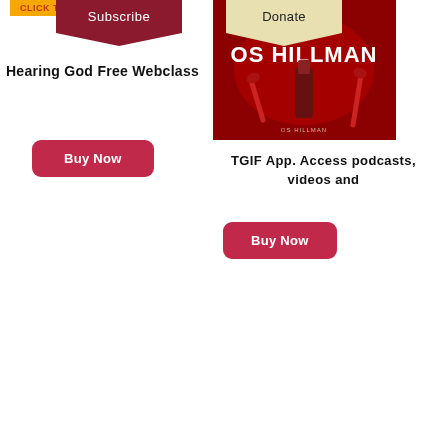CLICK TO
Subscribe
Hearing God Free Webclass
Buy Now
Donate
[Figure (photo): OS HILLMAN TGIF Today is First book/app promotional image on red background with tools]
TGIF App. Access podcasts, videos and
Buy Now